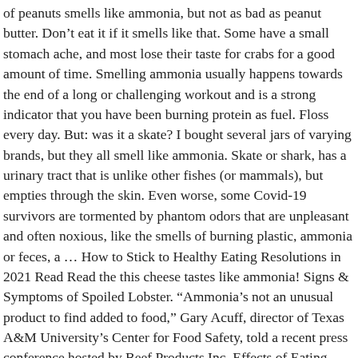of peanuts smells like ammonia, but not as bad as peanut butter. Don't eat it if it smells like that. Some have a small stomach ache, and most lose their taste for crabs for a good amount of time. Smelling ammonia usually happens towards the end of a long or challenging workout and is a strong indicator that you have been burning protein as fuel. Floss every day. But: was it a skate? I bought several jars of varying brands, but they all smell like ammonia. Skate or shark, has a urinary tract that is unlike other fishes (or mammals), but empties through the skin. Even worse, some Covid-19 survivors are tormented by phantom odors that are unpleasant and often noxious, like the smells of burning plastic, ammonia or feces, a … How to Stick to Healthy Eating Resolutions in 2021 Read Read the this cheese tastes like ammonia! Signs & Symptoms of Spoiled Lobster. “Ammonia’s not an unusual product to find added to food,” Gary Acuff, director of Texas A&M University’s Center for Food Safety, told a recent press conference hosted by Beef Products Inc. Effects of Eating Ammonia-Smelling Crabs. Then what cause ammonia taste in mouth in Chronic Kidney Failure? Looking through the internet, I found very little cases of people getting seriously sick from crabs.